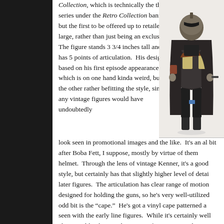Collection, which is technically the third series under the Retro Collection banner, but the first to be offered up to retailers at large, rather than just being an exclusive.  The figure stands 3 3/4 inches tall and he has 5 points of articulation.  His design is based on his first episode appearance, which is on one hand kinda weird, but on the other rather befitting the style, since any vintage figures would have undoubtedly look seen in promotional images and the like.  It's an al bit after Boba Fett, I suppose, mostly by virtue of them helmet.  Through the lens of vintage Kenner, it's a good style, but certainly has that slightly higher level of detai later figures.  The articulation has clear range of motion designed for holding the guns, so he's very well-utilized odd bit is the “cape.”  He's got a vinyl cape patterned a seen with the early line figures.  While it's certainly well character like the Mando, coming from a post Jedi-era,
[Figure (photo): A retro-style Star Wars action figure of the Mandalorian character, standing upright, wearing a dark cloak/cape and Mandalorian armor. The figure is approximately 3 3/4 inches tall with 5 points of articulation, displayed against a light background.]